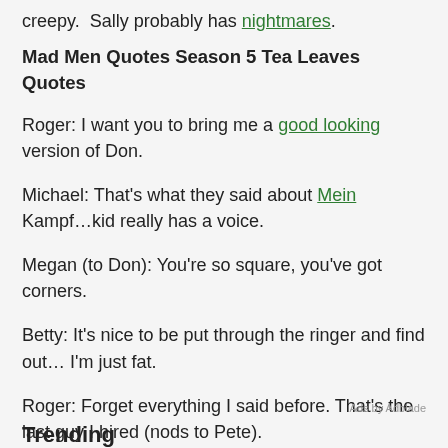creepy. Sally probably has nightmares.
Mad Men Quotes Season 5 Tea Leaves Quotes
Roger: I want you to bring me a good looking version of Don.
Michael: That’s what they said about Mein Kampf…kid really has a voice.
Megan (to Don): You’re so square, you’ve got corners.
Betty: It’s nice to be put through the ringer and find out… I’m just fat.
Roger: Forget everything I said before. That’s the last guy I hired (nods to Pete).
Ads by Adblade
Trending